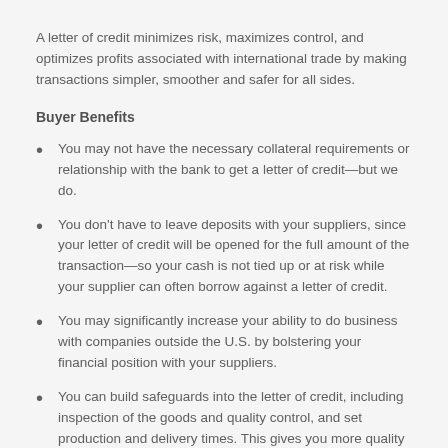A letter of credit minimizes risk, maximizes control, and optimizes profits associated with international trade by making transactions simpler, smoother and safer for all sides.
Buyer Benefits
You may not have the necessary collateral requirements or relationship with the bank to get a letter of credit—but we do.
You don't have to leave deposits with your suppliers, since your letter of credit will be opened for the full amount of the transaction—so your cash is not tied up or at risk while your supplier can often borrow against a letter of credit.
You may significantly increase your ability to do business with companies outside the U.S. by bolstering your financial position with your suppliers.
You can build safeguards into the letter of credit, including inspection of the goods and quality control, and set production and delivery times. This gives you more quality control over your goods.